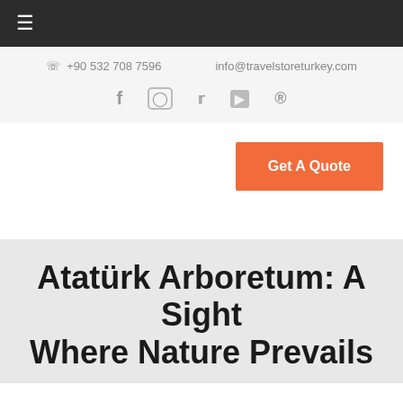≡
☎ +90 532 708 7596   info@travelstoreturkey.com
f  ◯  𝕏  ▶  ⊕
Get A Quote
Atatürk Arboretum: A Sight Where Nature Prevails